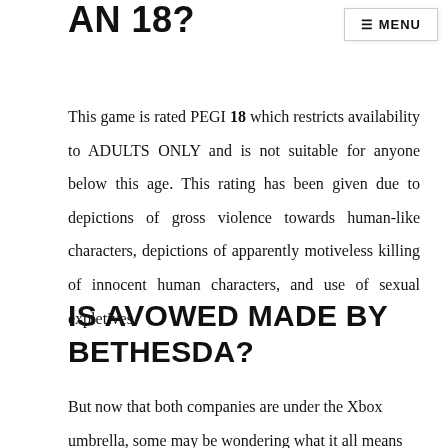AN 18?
≡ MENU
This game is rated PEGI 18 which restricts availability to ADULTS ONLY and is not suitable for anyone below this age. This rating has been given due to depictions of gross violence towards human-like characters, depictions of apparently motiveless killing of innocent human characters, and use of sexual expletives.
IS AVOWED MADE BY BETHESDA?
But now that both companies are under the Xbox umbrella, some may be wondering what it all means for Obsidian and games like